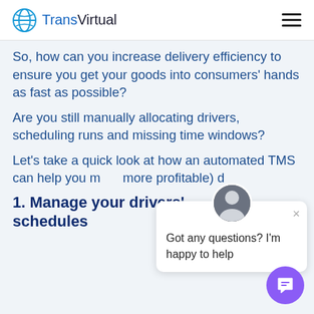TransVirtual
So, how can you increase delivery efficiency to ensure you get your goods into consumers' hands as fast as possible?
Are you still manually allocating drivers, scheduling runs and missing time windows?
Let's take a quick look at how an automated TMS can help you more profitable) d
[Figure (screenshot): Chat popup overlay with avatar and message 'Got any questions? I'm happy to help']
1. Manage your drivers' schedules